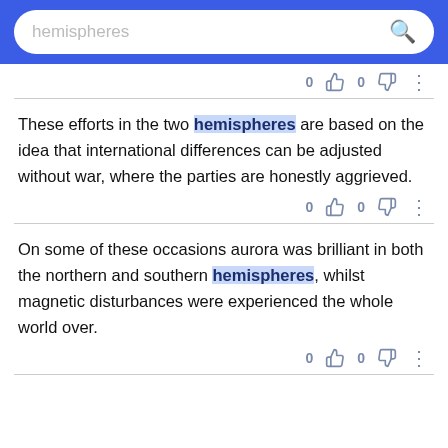hemispheres [search bar]
These efforts in the two hemispheres are based on the idea that international differences can be adjusted without war, where the parties are honestly aggrieved.
On some of these occasions aurora was brilliant in both the northern and southern hemispheres, whilst magnetic disturbances were experienced the whole world over.